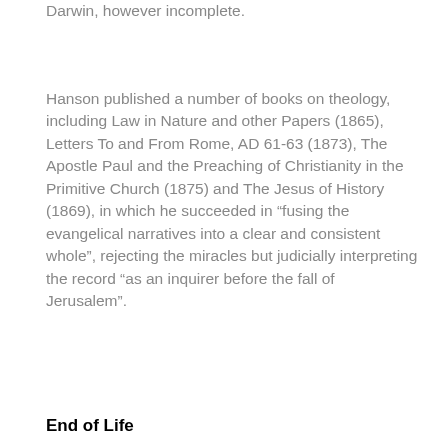Darwin, however incomplete.
Hanson published a number of books on theology, including Law in Nature and other Papers (1865), Letters To and From Rome, AD 61-63 (1873), The Apostle Paul and the Preaching of Christianity in the Primitive Church (1875) and The Jesus of History (1869), in which he succeeded in “fusing the evangelical narratives into a clear and consistent whole”, rejecting the miracles but judicially interpreting the record “as an inquirer before the fall of Jerusalem”.
End of Life